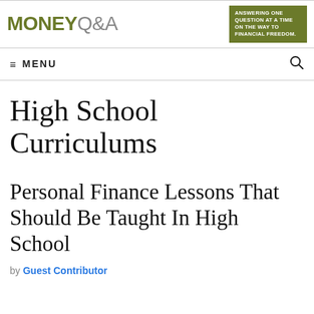MONEY Q&A — ANSWERING ONE QUESTION AT A TIME ON THE WAY TO FINANCIAL FREEDOM.
High School Curriculums
Personal Finance Lessons That Should Be Taught In High School
by Guest Contributor